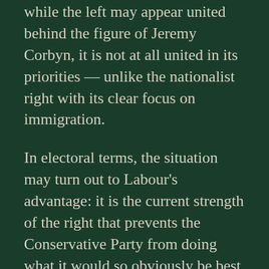while the left may appear united behind the figure of Jeremy Corbyn, it is not at all united in its priorities — unlike the nationalist right with its clear focus on immigration.

In electoral terms, the situation may turn out to Labour's advantage: it is the current strength of the right that prevents the Conservative Party from doing what it would so obviously be best advised to do, i.e. tracking back towards the centre to clean up on Labour among the voters now alienated by both major parties' current positions. Does a Labour victory on these terms sound like the recipe for happiness, though? If Labour wins the next general election only because the right has